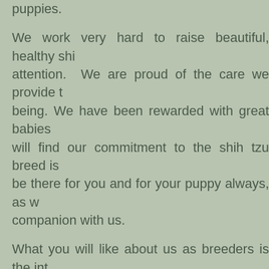puppies. We work very hard to raise beautiful, healthy shih tzus that deserve individual attention. We are proud of the care we provide to our dog's total well-being. We have been rewarded with great babies over the years! Here you will find our commitment to the shih tzu breed is unmatched. We will be there for you and for your puppy always, as we welcome you as a companion with us. What you will like about us as breeders is the integrity of our breeding program and our earnest desire to place our puppies. Our relationship before and after you purchase your puppy from us is simply wonderful. We have made many friends over the years who started out as our customers. Just as we are committed to raising the best puppies, we are committed to owning and caring for one of our babies. We provide information that will help you raise and care for your shih tzu! The "d" word is not often said here at DeniMay, we treat our dogs like little people. Yes, furry little four-legged peop